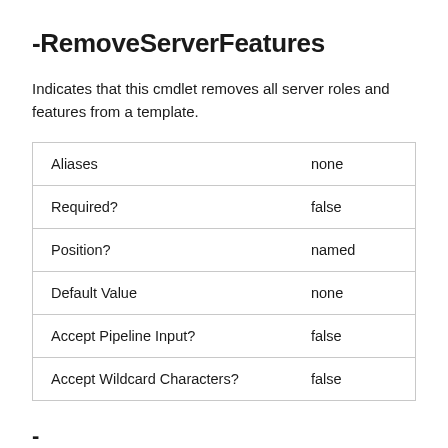-RemoveServerFeatures
Indicates that this cmdlet removes all server roles and features from a template.
|  |  |
| --- | --- |
| Aliases | none |
| Required? | false |
| Position? | named |
| Default Value | none |
| Accept Pipeline Input? | false |
| Accept Wildcard Characters? | false |
-
ReplicationGroup<Microsoft.SystemCenter.Vi...